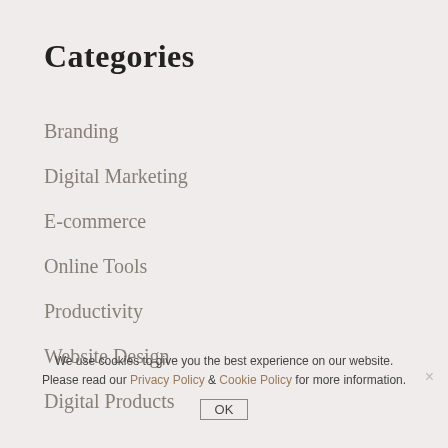Categories
Branding
Digital Marketing
E-commerce
Online Tools
Productivity
Website Design
Digital Products
We use cookies to give you the best experience on our website. Please read our Privacy Policy & Cookie Policy for more information. OK ×